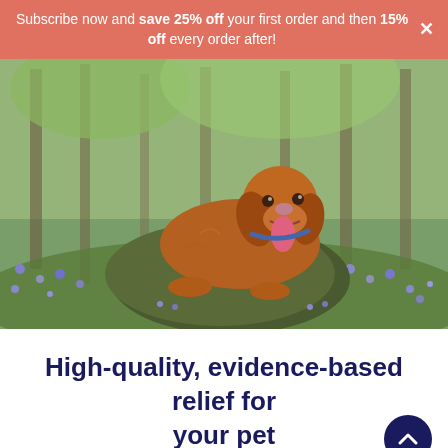Subscribe now and save 25% off your first order and then 15% off every order after!
[Figure (photo): Golden/brown dog lying on a moss-covered rock in a forest with bluebells, tongue out, looking happy]
High-quality, evidence-based relief for your pet